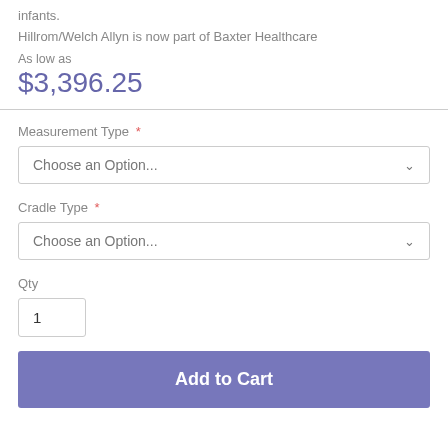infants.
Hillrom/Welch Allyn is now part of Baxter Healthcare
As low as
$3,396.25
Measurement Type *
Choose an Option...
Cradle Type *
Choose an Option...
Qty
1
Add to Cart